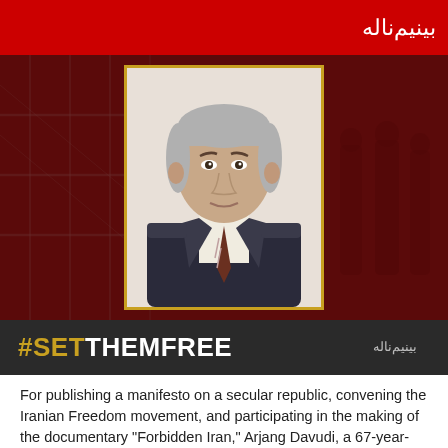[Figure (photo): Red background with Arabic text at top, dark red/brown background with silhouetted figures and fence/barbed wire texture, centered formal portrait photo of Arjang Davudi — middle-aged man with grey hair wearing dark suit and striped tie — framed with gold border]
#SETTHEMFREE
For publishing a manifesto on a secular republic, convening the Iranian Freedom movement, and participating in the making of the documentary "Forbidden Iran," Arjang Davudi, a 67-year-old